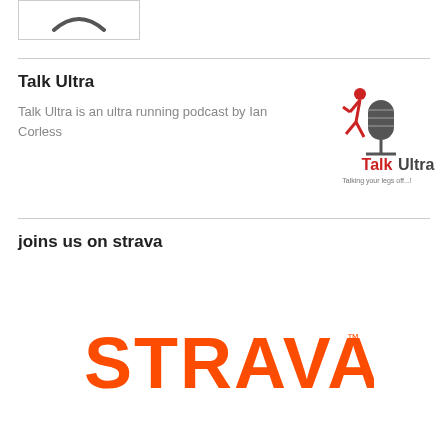[Figure (logo): Partial logo image at top left with curved/arc shape visible]
Talk Ultra
Talk Ultra is an ultra running podcast by Ian Corless
[Figure (logo): Talk Ultra logo with running figure and microphone, text says 'Talk Ultra - Talking your legs off...!']
joins us on strava
[Figure (logo): Strava logo in orange bold text with TM mark]